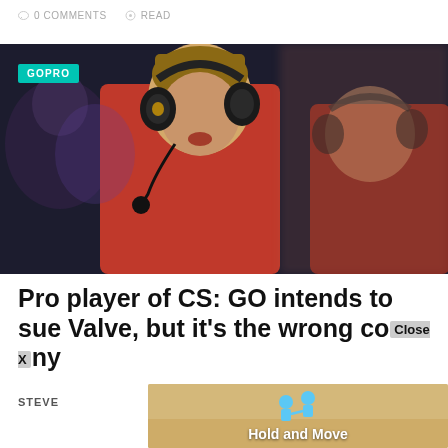0 COMMENTS   READ
[Figure (photo): Two esports players wearing headsets and red jerseys competing at a gaming event, focused on screens. A GOPRO badge overlay is visible in the top-left corner of the image.]
Pro player of CS: GO intends to sue Valve, but it's the wrong company
STEVE
[Figure (other): Advertisement overlay showing 'Hold and Move' mobile game with cartoon figures, with a Close X button visible.]